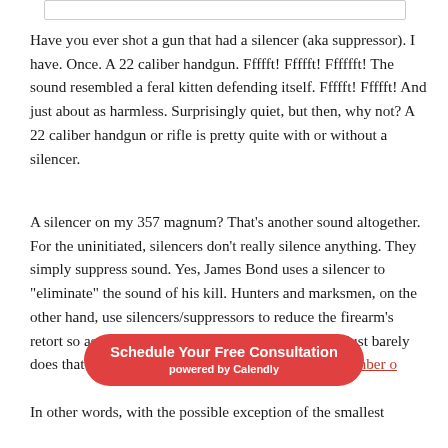Have you ever shot a gun that had a silencer (aka suppressor). I have. Once. A 22 caliber handgun. Ffffft! Ffffft! Fffffft! The sound resembled a feral kitten defending itself. Ffffft! Ffffft! And just about as harmless. Surprisingly quiet, but then, why not? A 22 caliber handgun or rifle is pretty quite with or without a silencer.
A silencer on my 357 magnum? That’s another sound altogether. For the uninitiated, silencers don’t really silence anything. They simply suppress sound. Yes, James Bond uses a silencer to “eliminate” the sound of his kill. Hunters and marksmen, on the other hand, use silencers/suppressors to reduce the firearm’s retort so as to protect their ears. And the suppressor just barely does that job, reducing the sound to just below the number o…
In other words, with the possible exception of the smallest
[Figure (infographic): Red rounded pill-shaped CTA button: 'Schedule Your Free Consultation' in bold white text, 'powered by Calendly' in smaller bold white text below.]